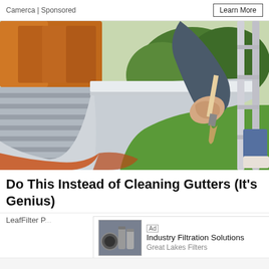Camerca | Sponsored
Learn More
[Figure (photo): Person on a ladder applying a rust-colored liquid to a house gutter using a paintbrush; green lawn and trees visible in the background.]
Do This Instead of Cleaning Gutters (It's Genius)
LeafFilter P...
[Figure (screenshot): Inline advertisement: 'Ad' label, image of industrial filtration canisters, text reading 'Industry Filtration Solutions', source 'Great Lakes Filters', and a 'Get Quote >' button. Ad controls show play and close icons.]